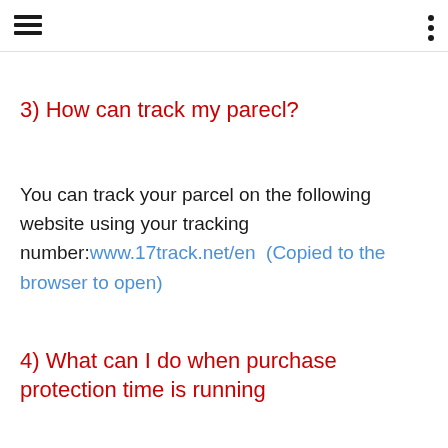[hamburger menu icon] [three dots icon]
3) How can track my parecl?
You can track your parcel on the following website using your tracking number:www.17track.net/en  (Copied to the browser to open)
4) What can I do when purchase protection time is running